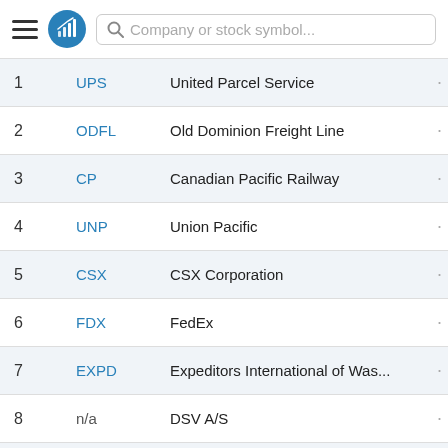| # | Ticker | Company |  |
| --- | --- | --- | --- |
| 1 | UPS | United Parcel Service | · |
| 2 | ODFL | Old Dominion Freight Line | · |
| 3 | CP | Canadian Pacific Railway | · |
| 4 | UNP | Union Pacific | · |
| 5 | CSX | CSX Corporation | · |
| 6 | FDX | FedEx | · |
| 7 | EXPD | Expeditors International of Was... | · |
| 8 | n/a | DSV A/S | · |
| 9 | n/a | DEUTSCHE POST AG-REG | · |
| 10 | n/a | AMADEUS IT GROUP SA | · |
| 11 | CHRW | C.H. Robinson Worldwide | · |